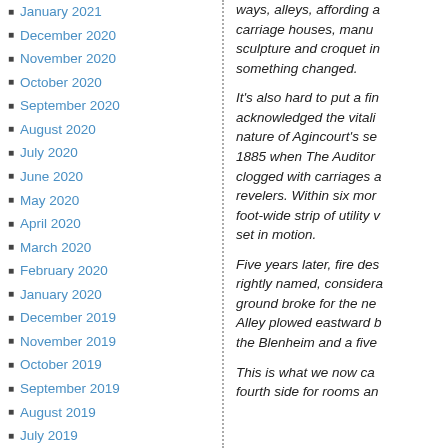January 2021
December 2020
November 2020
October 2020
September 2020
August 2020
July 2020
June 2020
May 2020
April 2020
March 2020
February 2020
January 2020
December 2019
November 2019
October 2019
September 2019
August 2019
July 2019
June 2019
May 2019
April 2019
March 2019
February 2019
ways, alleys, affording a carriage houses, manu sculpture and croquet in something changed.
It's also hard to put a fin acknowledged the vitali nature of Agincourt's se 1885 when The Auditor clogged with carriages a revelers. Within six mor foot-wide strip of utility v set in motion.
Five years later, fire des rightly named, considera ground broke for the ne Alley plowed eastward b the Blenheim and a five
This is what we now ca fourth side for rooms an